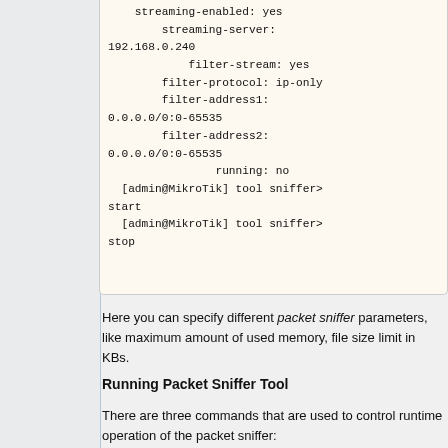[Figure (screenshot): Code block showing MikroTik packet sniffer configuration output with streaming settings and admin commands]
Here you can specify different packet sniffer parameters, like maximum amount of used memory, file size limit in KBs.
Running Packet Sniffer Tool
There are three commands that are used to control runtime operation of the packet sniffer:
/tool sniffer start, /tool sniffer stop, /tool sniffer save.
The start command is used to start/reset